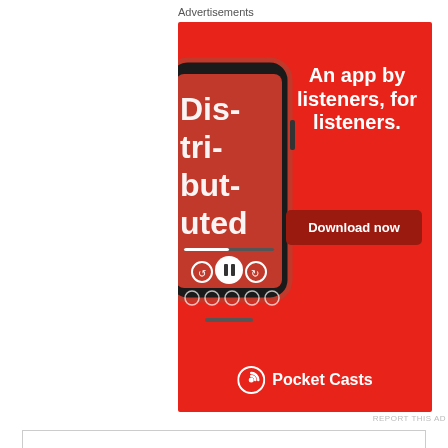Advertisements
[Figure (illustration): Pocket Casts app advertisement on red background featuring a smartphone showing a podcast app interface with text 'An app by listeners, for listeners.' and a 'Download now' button, with the Pocket Casts logo at the bottom.]
Privacy & Cookies: This site uses cookies. By continuing to use this website, you agree to their use.
To find out more, including how to control cookies, see here: Cookie Policy
Close and accept
Go ahead, teacher,  Simon replied.